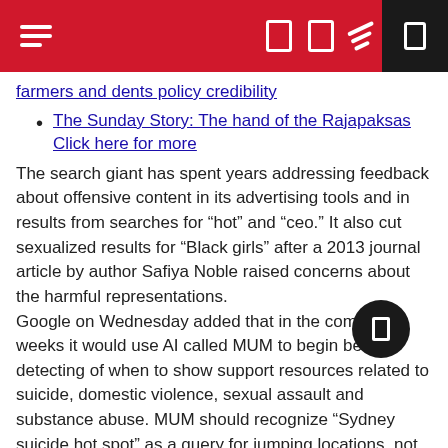[Navigation bar with hamburger menu and icons]
farmers and dents policy credibility
The Sunday Story: The hand of the Rajapaksas
Click here for more
The search giant has spent years addressing feedback about offensive content in its advertising tools and in results from searches for “hot” and “ceo.” It also cut sexualized results for “Black girls” after a 2013 journal article by author Safiya Noble raised concerns about the harmful representations.
Google on Wednesday added that in the coming weeks it would use AI called MUM to begin better detecting of when to show support resources related to suicide, domestic violence, sexual assault and substance abuse. MUM should recognize “Sydney suicide hot spot” as a query for jumping locations, not travel, and aid with longer questions, including “why did he attack me when i said i dont love him” and “most common ways suicide is